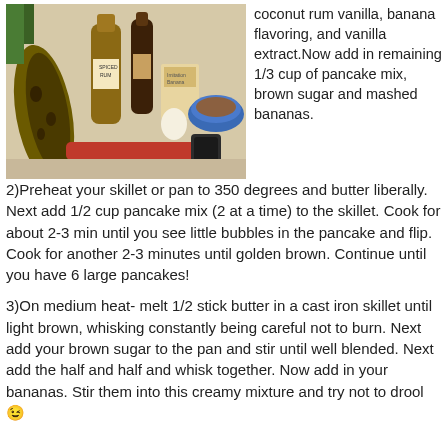[Figure (photo): Photo of baking ingredients on a counter: overripe bananas, a bottle of spiced rum, vanilla extract, an egg, a box, and a blue bowl, with a red lighter/kitchen tool in the foreground.]
coconut rum vanilla, banana flavoring, and vanilla extract.Now add in remaining 1/3 cup of pancake mix, brown sugar and mashed bananas.
2)Preheat your skillet or pan to 350 degrees and butter liberally. Next add 1/2 cup pancake mix (2 at a time) to the skillet. Cook for about 2-3 min until you see little bubbles in the pancake and flip. Cook for another 2-3 minutes until golden brown. Continue until you have 6 large pancakes!
3)On medium heat- melt 1/2 stick butter in a cast iron skillet until light brown, whisking constantly being careful not to burn. Next add your brown sugar to the pan and stir until well blended. Next add the half and half and whisk together. Now add in your bananas. Stir them into this creamy mixture and try not to drool 😉